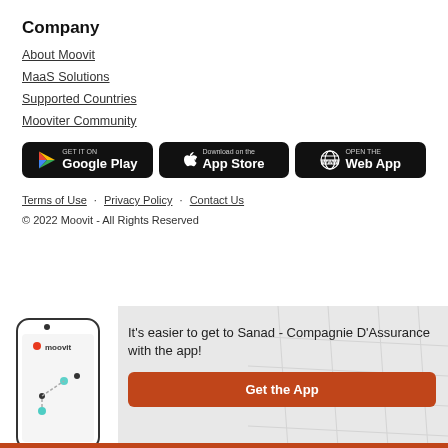Company
About Moovit
MaaS Solutions
Supported Countries
Mooviter Community
[Figure (other): App store download buttons: GET IT ON Google Play, Download on the App Store, OPEN THE Web App]
Terms of Use · Privacy Policy · Contact Us
© 2022 Moovit - All Rights Reserved
[Figure (other): Moovit app promotional banner with phone mockup showing app interface and text: It's easier to get to Sanad - Compagnie D'Assurance with the app! Get the App button.]